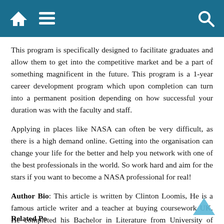Home | Menu | Search
This program is specifically designed to facilitate graduates and allow them to get into the competitive market and be a part of something magnificent in the future. This program is a 1-year career development program which upon completion can turn into a permanent position depending on how successful your duration was with the faculty and staff.
Applying in places like NASA can often be very difficult, as there is a high demand online. Getting into the organisation can change your life for the better and help you network with one of the best professionals in the world. So work hard and aim for the stars if you want to become a NASA professional for real!
Author Bio: This article is written by Clinton Loomis, He is a famous article writer and a teacher at buying coursework UK. He completed his Bachelor in Literature from University of London, UK.
Related Posts